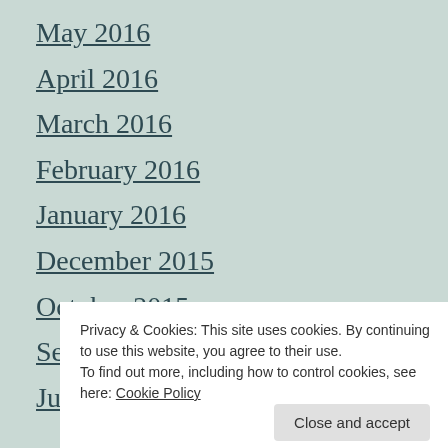May 2016
April 2016
March 2016
February 2016
January 2016
December 2015
October 2015
September 2015
July 2015
Privacy & Cookies: This site uses cookies. By continuing to use this website, you agree to their use. To find out more, including how to control cookies, see here: Cookie Policy
Close and accept